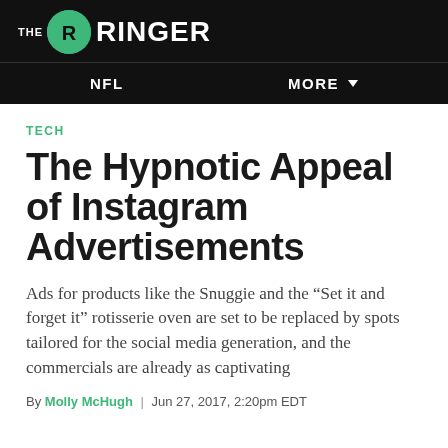THE RINGER
NFL | MORE
TECH
The Hypnotic Appeal of Instagram Advertisements
Ads for products like the Snuggie and the “Set it and forget it” rotisserie oven are set to be replaced by spots tailored for the social media generation, and the commercials are already as captivating
By Molly McHugh | Jun 27, 2017, 2:20pm EDT